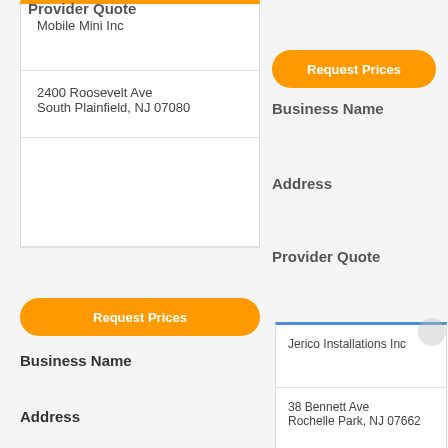Provider Quote
| Business Name | Address | Provider Quote |
| --- | --- | --- |
| Mobile Mini Inc | 2400 Roosevelt Ave
South Plainfield, NJ 07080 |  |
| Jerico Installations Inc | 38 Bennett Ave
Rochelle Park, NJ 07662 |  |
Request Prices
Request Prices